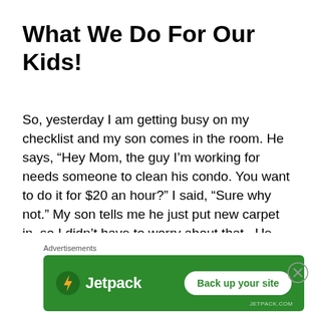What We Do For Our Kids!
So, yesterday I am getting busy on my checklist and my son comes in the room. He says, “Hey Mom, the guy I’m working for needs someone to clean his condo. You want to do it for $20 an hour?” I said, “Sure why not.” My son tells me he just put new carpet in, so I didn’t have to worry about that.  He needs someone to clean the kitchen cabinets, bathrooms, clean the
Advertisements
[Figure (screenshot): Jetpack advertisement banner with green background, Jetpack logo with lightning bolt icon on left, and 'Back up your site' button on right]